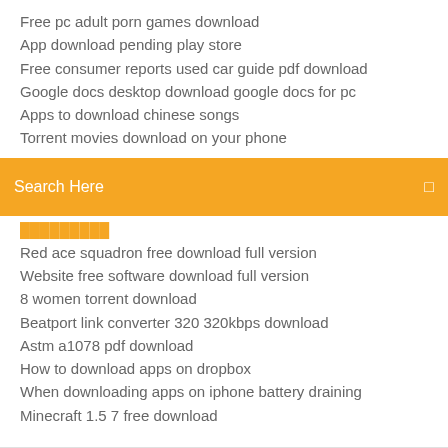Free pc adult porn games download
App download pending play store
Free consumer reports used car guide pdf download
Google docs desktop download google docs for pc
Apps to download chinese songs
Torrent movies download on your phone
[Figure (screenshot): Orange search bar with text 'Search Here' and a small icon on the right]
(partial item - orange/highlighted text partially visible)
Red ace squadron free download full version
Website free software download full version
8 women torrent download
Beatport link converter 320 320kbps download
Astm a1078 pdf download
How to download apps on dropbox
When downloading apps on iphone battery draining
Minecraft 1.5 7 free download